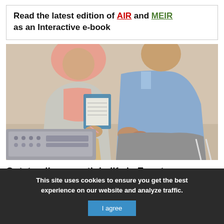Read the latest edition of AIR and MEIR as an Interactive e-book
[Figure (photo): A woman in a hijab writing on a clipboard seated next to a man in a blue shirt, with medical ultrasound equipment visible in the foreground, in a clinical setting.]
Outstanding growth in life in Egypt
This site uses cookies to ensure you get the best experience on our website and analyze traffic. I agree